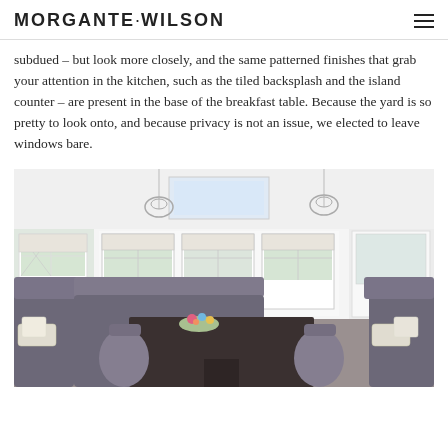MORGANTE·WILSON
subdued – but look more closely, and the same patterned finishes that grab your attention in the kitchen, such as the tiled backsplash and the island counter – are present in the base of the breakfast table. Because the yard is so pretty to look onto, and because privacy is not an issue, we elected to leave windows bare.
[Figure (photo): Interior photo of a breakfast nook with gray upholstered banquette seating, a dark dining table, white-framed windows, roman shades, and pendant light fixtures hanging from the ceiling.]